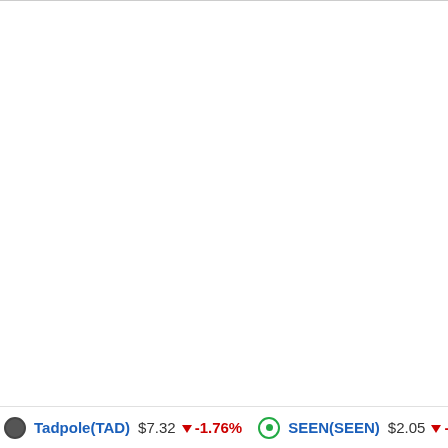Tadpole(TAD) $7.32 ↓ -1.76%   SEEN(SEEN) $2.05 ↓ -2.27%